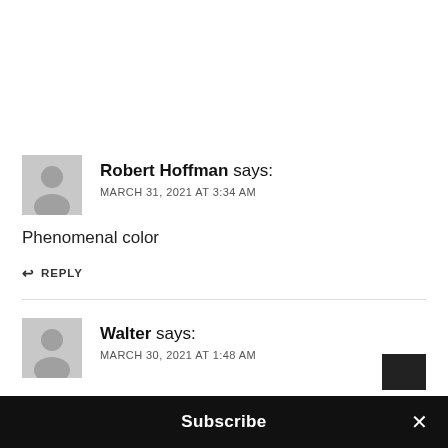Robert Hoffman says:
MARCH 31, 2021 AT 3:34 AM
Phenomenal color
↩ REPLY
Walter says:
MARCH 30, 2021 AT 1:48 AM
Subscribe